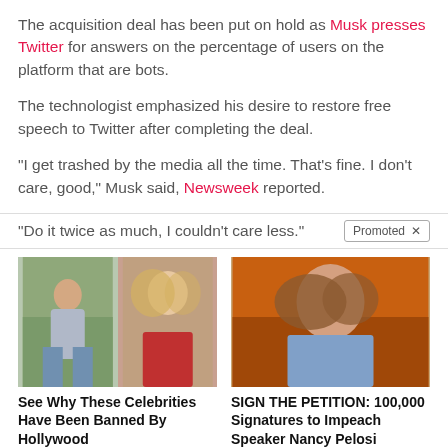The acquisition deal has been put on hold as Musk presses Twitter for answers on the percentage of users on the platform that are bots.
The technologist emphasized his desire to restore free speech to Twitter after completing the deal.
"I get trashed by the media all the time. That’s fine. I don’t care, good," Musk said, Newsweek reported.
“Do it twice as much, I couldn’t care less.”
[Figure (photo): Ad: Two celebrity photos side by side (woman outdoors with bag, blonde woman in red top)]
See Why These Celebrities Have Been Banned By Hollywood
2,856
[Figure (photo): Ad: Photo of Nancy Pelosi against orange background]
SIGN THE PETITION: 100,000 Signatures to Impeach Speaker Nancy Pelosi
57,489